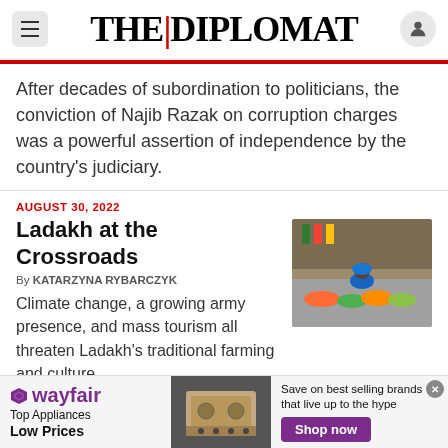THE DIPLOMAT
After decades of subordination to politicians, the conviction of Najib Razak on corruption charges was a powerful assertion of independence by the country's judiciary.
AUGUST 30, 2022
Ladakh at the Crossroads
By KATARZYNA RYBARCZYK
Climate change, a growing army presence, and mass tourism all threaten Ladakh's traditional farming and culture.
[Figure (photo): Photo of people at a market with vegetables and goods]
AUGUST 29, 2022
[Figure (photo): Wayfair advertisement showing kitchen appliance with text: Top Appliances Low Prices, Save on best selling brands that live up to the hype, Shop now]